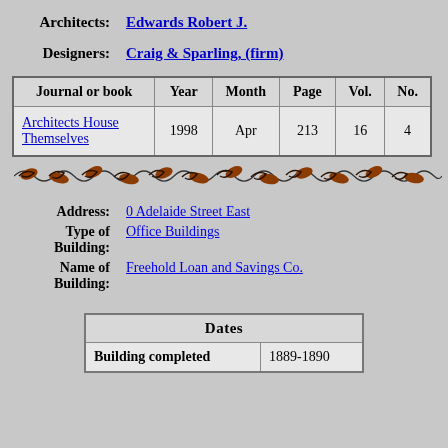Architects: Edwards Robert J.
Designers: Craig & Sparling, (firm)
| Journal or book | Year | Month | Page | Vol. | No. |
| --- | --- | --- | --- | --- | --- |
| Architects House Themselves | 1998 | Apr | 213 | 16 | 4 |
[Figure (illustration): Decorative horizontal divider with scrollwork and leaf/bird motifs in brown/red tones]
Address: 0 Adelaide Street East
Type of Building: Office Buildings
Name of Building: Freehold Loan and Savings Co.
| Dates |
| --- |
| Building completed | 1889-1890 |